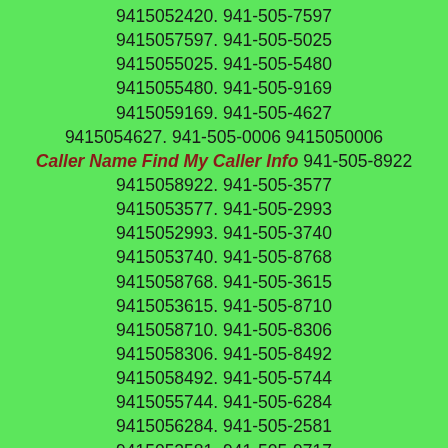9415052420. 941-505-7597 9415057597. 941-505-5025 9415055025. 941-505-5480 9415055480. 941-505-9169 9415059169. 941-505-4627 9415054627. 941-505-0006 9415050006 Caller Name Find My Caller Info 941-505-8922 9415058922. 941-505-3577 9415053577. 941-505-2993 9415052993. 941-505-3740 9415053740. 941-505-8768 9415058768. 941-505-3615 9415053615. 941-505-8710 9415058710. 941-505-8306 9415058306. 941-505-8492 9415058492. 941-505-5744 9415055744. 941-505-6284 9415056284. 941-505-2581 9415052581. 941-505-9717 9415059717. 941-505-5716 9415055716. 941-505-9853 9415059853. 941-505-8972 9415058972. 941-505-7260 9415057260. 941-505-6963 9415056963. 941-505-7264